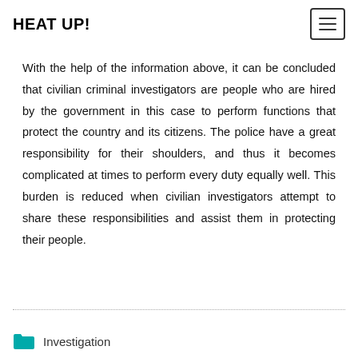HEAT UP!
With the help of the information above, it can be concluded that civilian criminal investigators are people who are hired by the government in this case to perform functions that protect the country and its citizens. The police have a great responsibility for their shoulders, and thus it becomes complicated at times to perform every duty equally well. This burden is reduced when civilian investigators attempt to share these responsibilities and assist them in protecting their people.
Investigation